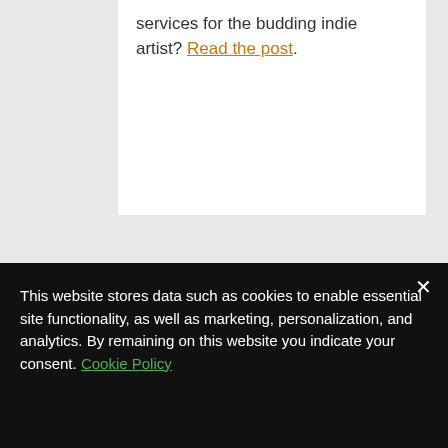services for the budding indie artist? Read the post.
This website stores data such as cookies to enable essential site functionality, as well as marketing, personalization, and analytics. By remaining on this website you indicate your consent. Cookie Policy